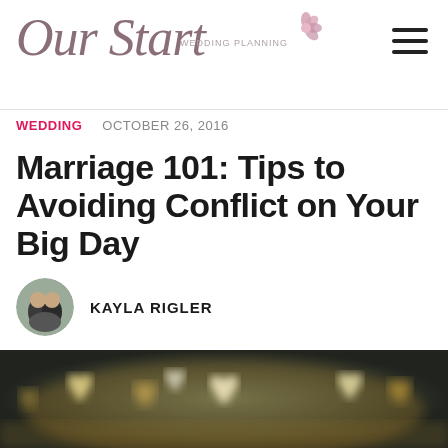Our Start — Wedding Planning
WEDDING   OCTOBER 26, 2016
Marriage 101: Tips to Avoiding Conflict on Your Big Day
KAYLA RIGLER
[Figure (photo): Bokeh photograph of golden heart-shaped light spots on a dark blurred background, creating a romantic atmosphere.]